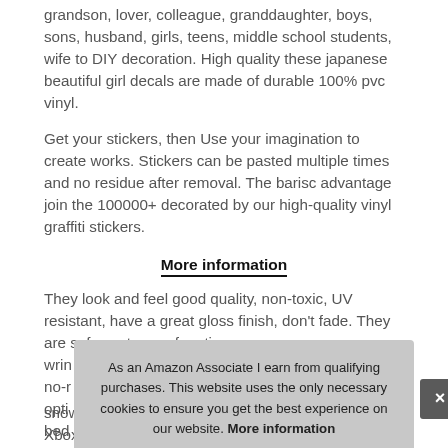grandson, lover, colleague, granddaughter, boys, sons, husband, girls, teens, middle school students, wife to DIY decoration. High quality these japanese beautiful girl decals are made of durable 100% pvc vinyl.
Get your stickers, then Use your imagination to create works. Stickers can be pasted multiple times and no residue after removal. The barisc advantage join the 100000+ decorated by our high-quality vinyl graffiti stickers.
More information
They look and feel good quality, non-toxic, UV resistant, have a great gloss finish, don't fade. They are safe, waterproof, anti-wrin[kle], no-r[esidue], opti[ons], bed[side], snowboard, bumpers, bikes, computer, hydrotlasks, Xbox One,
As an Amazon Associate I earn from qualifying purchases. This website uses the only necessary cookies to ensure you get the best experience on our website. More information